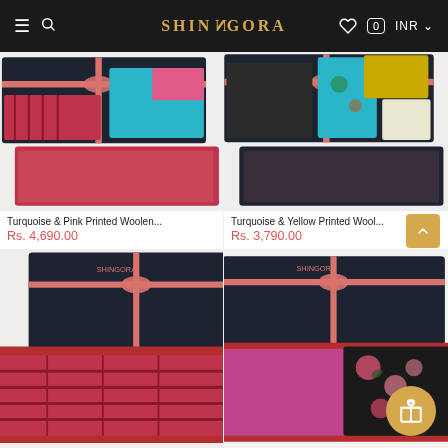SHINGORA — INR
[Figure (photo): Shingora gift box with turquoise, pink and checkered woolen scarves/stoles in a dark gift box with pink ribbon]
Turquoise & Pink Printed Woolen...
Rs. 4,690.00
[Figure (photo): Shingora gift box with turquoise, yellow and floral printed woolen scarves/stoles in a dark gift box with pink ribbon]
Turquoise & Yellow Printed Wool...
Rs. 3,790.00
[Figure (photo): Shingora gift box with deep red/maroon checkered woolen scarves/stoles in a dark gift box with pink ribbon]
[Figure (photo): Shingora gift box with pink/magenta and floral printed stoles in a dark gift box with pink ribbon]